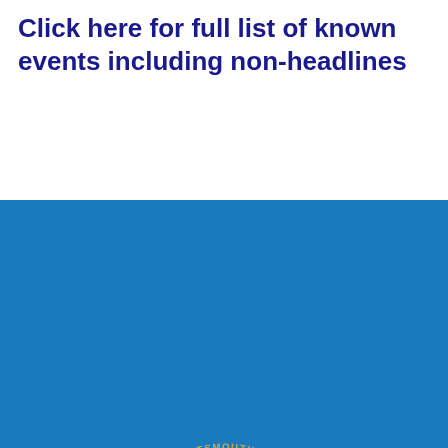Click here for full list of known events including non-headlines
[Figure (logo): Winchester & Portsmouth Diocesan Guild of Church Bell Ringers seal/logo. A gold bell on a dark red shield-shaped background, surrounded by a blue oval ring with gold text reading 'WINCHESTER & PORTSMOUTH DIOCESAN GUILD OF CHURCH BELL RINGERS FOUND...' in gold lettering, all set against a light blue background.]